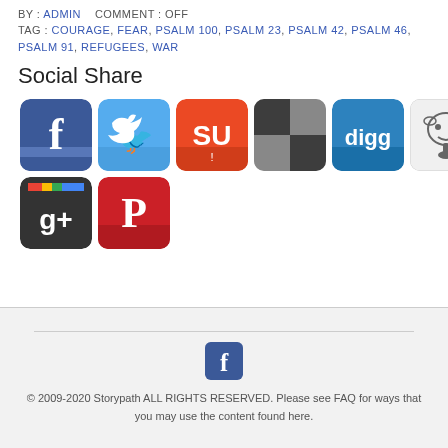BY : ADMIN   COMMENT : OFF
TAG : COURAGE, FEAR, PSALM 100, PSALM 23, PSALM 42, PSALM 46, PSALM 91, REFUGEES, WAR
Social Share
[Figure (infographic): Social sharing icons row 1: Facebook, Twitter, StumbleUpon, Delicious, Digg, Reddit, LinkedIn]
[Figure (infographic): Social sharing icons row 2: Google+, Pinterest]
[Figure (logo): Facebook icon in footer]
© 2009-2020 Storypath ALL RIGHTS RESERVED. Please see FAQ for ways that you may use the content found here.